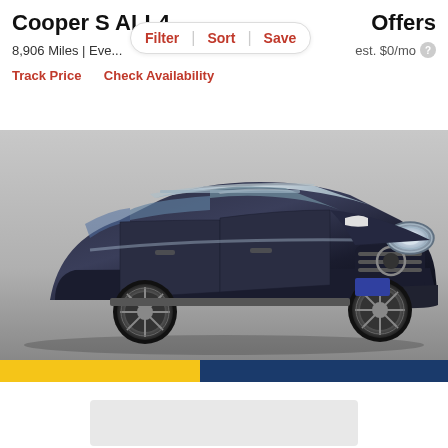Cooper S ALL4
Offers
Filter | Sort | Save
8,906 Miles | Eve...
est. $0/mo
Track Price   Check Availability
[Figure (photo): Dark navy blue MINI Cooper S ALL4 Countryman SUV parked in a showroom or photo studio, viewed from the front-right quarter angle. The car features round headlights, a distinctive MINI grille, silver roof rails, and alloy wheels.]
[Figure (other): Yellow and dark blue dealer strip at bottom of car image]
[Figure (other): Light gray placeholder card at bottom of page]